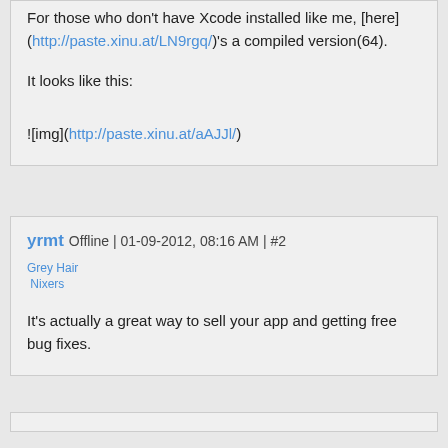For those who don't have Xcode installed like me, [here](http://paste.xinu.at/LN9rgq/)'s a compiled version(64).
It looks like this:
![img](http://paste.xinu.at/aAJJl/)
yrmt Offline | 01-09-2012, 08:16 AM | #2
Grey Hair Nixers
It's actually a great way to sell your app and getting free bug fixes.